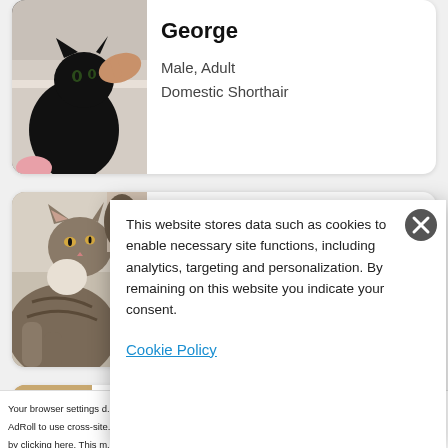[Figure (photo): Black cat being petted by a human hand, sitting in a bathtub or basin]
George
Male, Adult
Domestic Shorthair
[Figure (photo): Tabby cat looking up, partial view]
Snuggles
This website stores data such as cookies to enable necessary site functions, including analytics, targeting and personalization. By remaining on this website you indicate your consent.
Cookie Policy
[Figure (photo): Partial view of a third cat, orange/tan colored]
Your browser settings d... AdRoll to use cross-site... by clicking here. This m...essage only appears once.